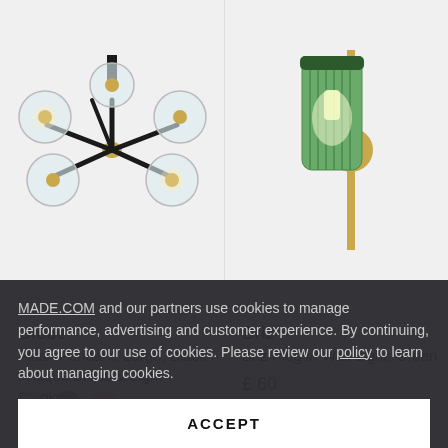[Figure (photo): Globe Flush Pendant light with black arms and brass fittings, multiple clear glass globe bulbs, photographed from below on light grey background]
[Figure (photo): Briz Plug in Wall Light in green ribbed glass cylinder shade with brass/gold metal fitting on white background]
Globe
Flush Pendant, Large, Black Antique Brass & Light Smoke...
£ 110
Briz
Briz Plug in Wall Light, Green
£ 60
MADE.COM and our partners use cookies to manage performance, advertising and customer experience. By continuing, you agree to our use of cookies. Please review our policy to learn about managing cookies.
ACCEPT